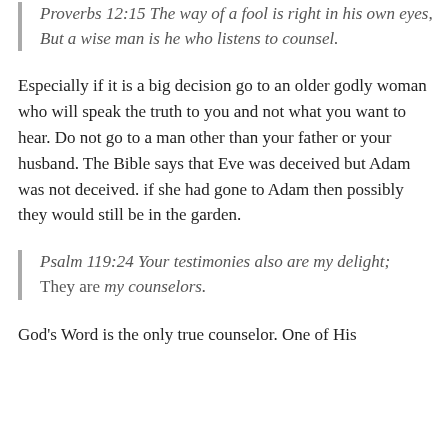Proverbs 12:15 The way of a fool is right in his own eyes, But a wise man is he who listens to counsel.
Especially if it is a big decision go to an older godly woman who will speak the truth to you and not what you want to hear. Do not go to a man other than your father or your husband. The Bible says that Eve was deceived but Adam was not deceived. if she had gone to Adam then possibly they would still be in the garden.
Psalm 119:24 Your testimonies also are my delight; They are my counselors.
God's Word is the only true counselor. One of His